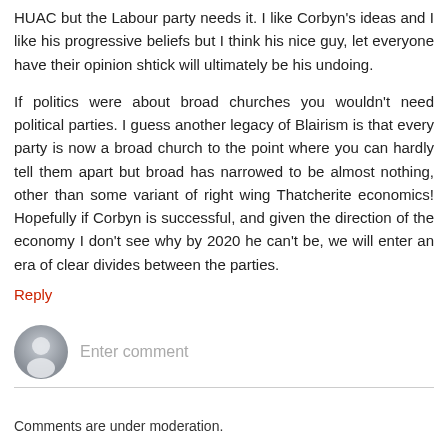HUAC but the Labour party needs it. I like Corbyn's ideas and I like his progressive beliefs but I think his nice guy, let everyone have their opinion shtick will ultimately be his undoing.
If politics were about broad churches you wouldn't need political parties. I guess another legacy of Blairism is that every party is now a broad church to the point where you can hardly tell them apart but broad has narrowed to be almost nothing, other than some variant of right wing Thatcherite economics! Hopefully if Corbyn is successful, and given the direction of the economy I don't see why by 2020 he can't be, we will enter an era of clear divides between the parties.
Reply
Enter comment
Comments are under moderation.